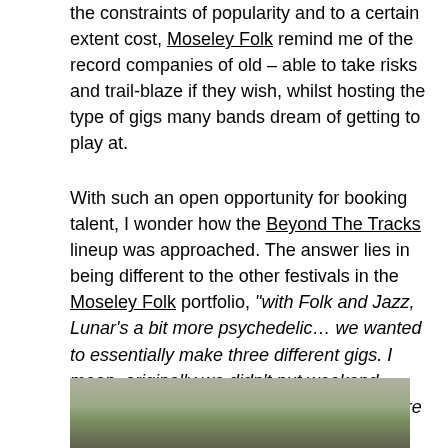the constraints of popularity and to a certain extent cost, Moseley Folk remind me of the record companies of old – able to take risks and trail-blaze if they wish, whilst hosting the type of gigs many bands dream of getting to play at.
With such an open opportunity for booking talent, I wonder how the Beyond The Tracks lineup was approached. The answer lies in being different to the other festivals in the Moseley Folk portfolio, "with Folk and Jazz, Lunar's a bit more psychedelic... we wanted to essentially make three different gigs. I mean, originally we didn't put weekend tickets on sale because we didn't think there would be that much demand. Essentially it was an electronic night, an indie night and, I guess, like a post-punk, shoegaze kind of Sunday, which is cool".
[Figure (photo): Partial view of a photograph showing people outdoors with trees in the background]